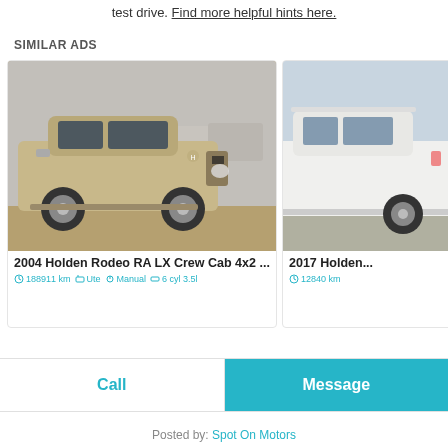test drive. Find more helpful hints here.
SIMILAR ADS
[Figure (photo): Gold/beige 2004 Holden Rodeo RA LX Crew Cab 4x2 ute parked at a car yard, front three-quarter view]
2004 Holden Rodeo RA LX Crew Cab 4x2 ...
188911 km  Ute  Manual  6 cyl 3.5l
[Figure (photo): White 2017 Holden ute/SUV side view, partially cropped]
2017 Holden...
12840 km
Call
Message
Posted by: Spot On Motors